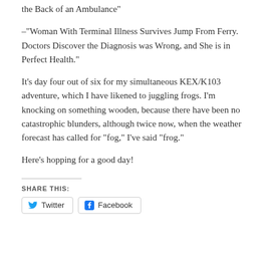–"…the Back of an Ambulance"
–"Woman With Terminal Illness Survives Jump From Ferry. Doctors Discover the Diagnosis was Wrong, and She is in Perfect Health."
It's day four out of six for my simultaneous KEX/K103 adventure, which I have likened to juggling frogs. I'm knocking on something wooden, because there have been no catastrophic blunders, although twice now, when the weather forecast has called for "fog," I've said "frog."
Here's hopping for a good day!
SHARE THIS:
Twitter   Facebook